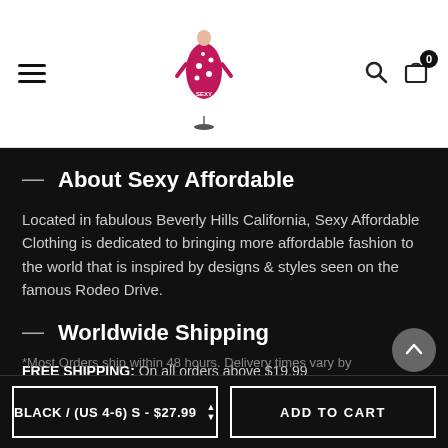[Figure (logo): Sexy Affordable clothing brand logo — a woman in a red polka-dot dress on a mannequin stand, with 'SEXY AFFORDABLE' text]
About Sexy Affordable
Located in fabulous Beverly Hills California, Sexy Affordable Clothing is dedicated to bringing more affordable fashion to the world that is inspired by designs & styles seen on the famous Rodeo Drive.
Worldwide Shipping
FREE SHIPPING: On all orders above $19.99
*Express and Expedited Shipping is available on many items.